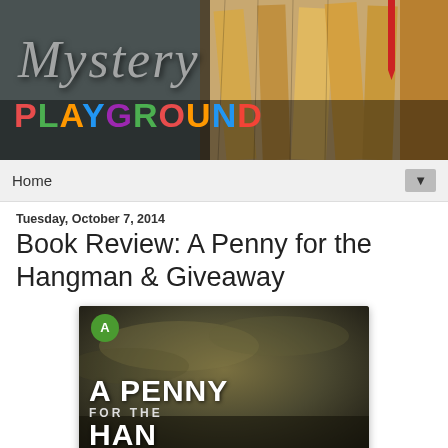[Figure (illustration): Mystery Playground blog banner with stacked books background. 'Mystery' in white italic script and 'PLAYGROUND' in multicolored block letters.]
Home
Tuesday, October 7, 2014
Book Review: A Penny for the Hangman & Giveaway
[Figure (photo): Book cover of 'A Penny for the Hangman' with dark stormy sky background, green publisher badge, large white bold title text.]